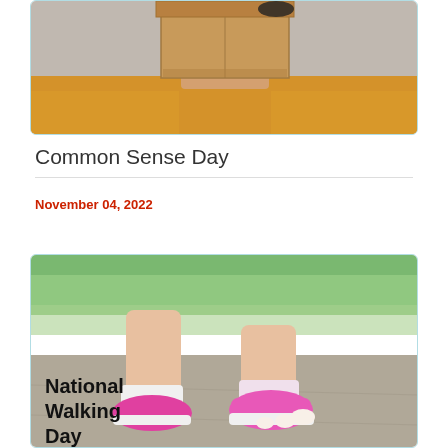[Figure (photo): Person wearing a cardboard box on their head over an orange/yellow shirt, cropped at torso level]
Common Sense Day
November 04, 2022
[Figure (photo): Close-up photo of legs walking, wearing pink sneakers and colorful socks, on pavement. Text overlay reads 'National Walking Day']